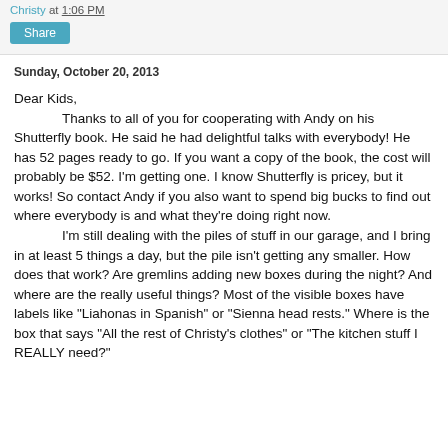Christy at 1:06 PM
Share
Sunday, October 20, 2013
Dear Kids,
	Thanks to all of you for cooperating with Andy on his Shutterfly book. He said he had delightful talks with everybody! He has 52 pages ready to go. If you want a copy of the book, the cost will probably be $52. I'm getting one. I know Shutterfly is pricey, but it works! So contact Andy if you also want to spend big bucks to find out where everybody is and what they're doing right now.
	I'm still dealing with the piles of stuff in our garage, and I bring in at least 5 things a day, but the pile isn't getting any smaller. How does that work? Are gremlins adding new boxes during the night? And where are the really useful things? Most of the visible boxes have labels like "Liahonas in Spanish" or "Sienna head rests." Where is the box that says "All the rest of Christy's clothes" or "The kitchen stuff I REALLY need?"